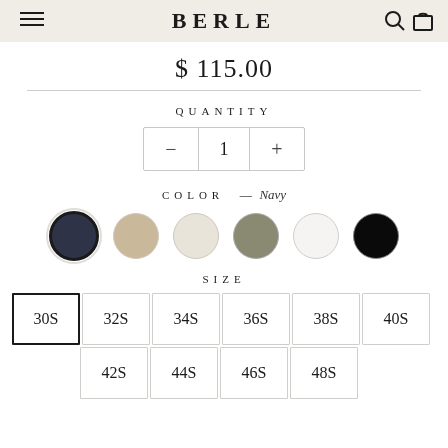BERLE
$ 115.00
QUANTITY
1
COLOR — Navy
SIZE
30S 32S 34S 36S 38S 40S 42S 44S 46S 48S